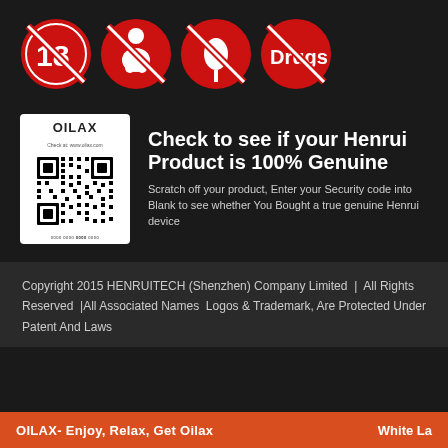[Figure (illustration): Four prohibition/warning icons in red circles on dark background: 18+ age restriction, no baby/pregnancy, no smoking/vaping, no drugs (text 'Drugs' crossed out)]
[Figure (infographic): OILAX branded QR code card on the left with white background showing OILAX logo and QR code pattern with serial number. On the right, bold white text reads 'Check to see if your Henrui Product is 100% Genuine' with description text below.]
Check to see if your Henrui Product is 100% Genuine
Scratch off your product, Enter your Security code into Blank to see whether You Bought a true genuine Henrui device
Copyright 2015 HENRUITECH (Shenzhen) Company Limited | All Rights Reserved |All Associated Names Logos & Trademark, Are Protected Under Patent And Laws
OILAX- Enjoy, Relax, Get Oilax   White La